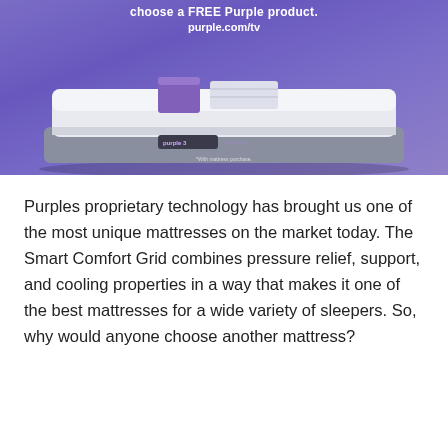[Figure (photo): Purple mattress advertisement showing a mattress with a purple square pillow and white folded sheets on top, on a purple background, with text 'choose a FREE Purple product.' and 'purple.com/tv' above the mattress.]
Purples proprietary technology has brought us one of the most unique mattresses on the market today. The Smart Comfort Grid combines pressure relief, support, and cooling properties in a way that makes it one of the best mattresses for a wide variety of sleepers. So, why would anyone choose another mattress?